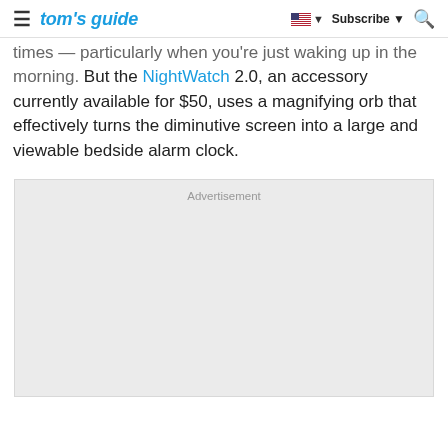tom's guide | Subscribe | Search
times — particularly when you're just waking up in the morning. But the NightWatch 2.0, an accessory currently available for $50, uses a magnifying orb that effectively turns the diminutive screen into a large and viewable bedside alarm clock.
[Figure (other): Advertisement placeholder box with light gray background]